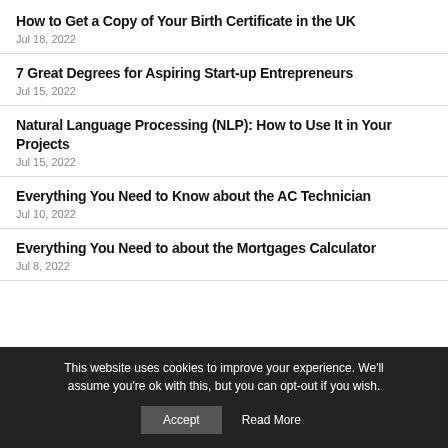How to Get a Copy of Your Birth Certificate in the UK
Jul 18, 2022
7 Great Degrees for Aspiring Start-up Entrepreneurs
Jul 15, 2022
Natural Language Processing (NLP): How to Use It in Your Projects
Jul 15, 2022
Everything You Need to Know about the AC Technician
Jul 10, 2022
Everything You Need to about the Mortgages Calculator
Jul 8, 2022
This website uses cookies to improve your experience. We'll assume you're ok with this, but you can opt-out if you wish.